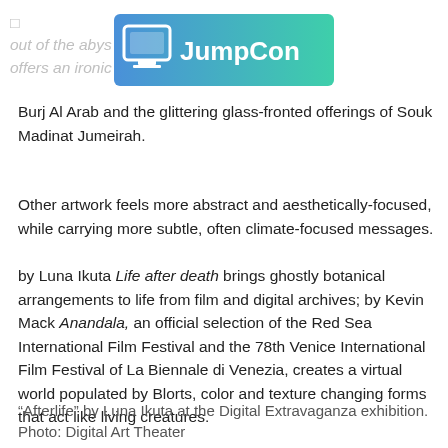[Figure (logo): JumpCon logo with monitor icon and gradient teal background]
out of the abyss … of the lot and offers an ironic … places like the Burj Al Arab and the glittering glass-fronted offerings of Souk Madinat Jumeirah.
Other artwork feels more abstract and aesthetically-focused, while carrying more subtle, often climate-focused messages.
by Luna Ikuta Life after death brings ghostly botanical arrangements to life from film and digital archives; by Kevin Mack Anandala, an official selection of the Red Sea International Film Festival and the 78th Venice International Film Festival of La Biennale di Venezia, creates a virtual world populated by Blorts, color and texture changing forms that act like living creatures.
“Afterlife” by Luna Ikuta at the Digital Extravaganza exhibition. Photo: Digital Art Theater